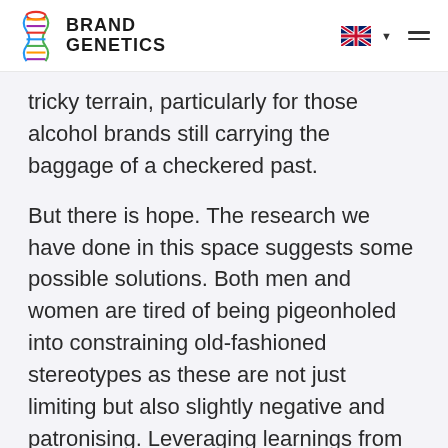Brand Genetics
tricky terrain, particularly for those alcohol brands still carrying the baggage of a checkered past.

But there is hope. The research we have done in this space suggests some possible solutions. Both men and women are tired of being pigeonholed into constraining old-fashioned stereotypes as these are not just limiting but also slightly negative and patronising. Leveraging learnings from positive psychology – which tells us people are happier,